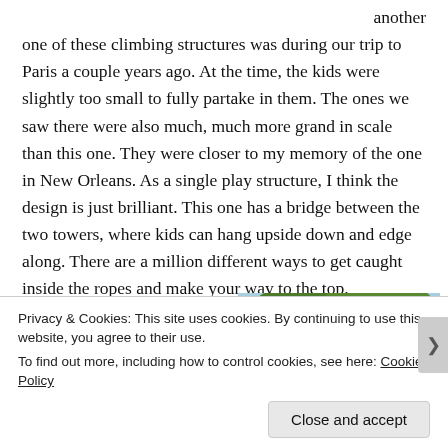another one of these climbing structures was during our trip to Paris a couple years ago.  At the time, the kids were slightly too small to fully partake in them.  The ones we saw there were also much, much more grand in scale than this one.  They were closer to my memory of the one in New Orleans.  As a single play structure, I think the design is just brilliant.  This one has a bridge between the two towers, where kids can hang upside down and edge along.  There are a million different ways to get caught inside the ropes and make your way to the top.
This one isn't that tall, but I was still
[Figure (photo): Partial photo of a climbing structure with ropes and trees in the background, orange/brown colors visible.]
Privacy & Cookies: This site uses cookies. By continuing to use this website, you agree to their use.
To find out more, including how to control cookies, see here: Cookie Policy